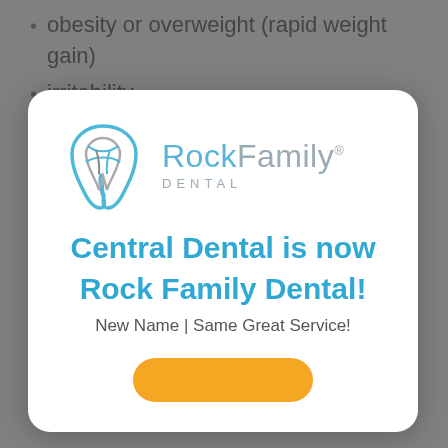obesity or overweight (rapid weight gain)
irritability
[Figure (logo): Rock Family Dental logo with stylized tooth icon in blue and grey, and text 'RockFamily® DENTAL']
Central Dental is now Rock Family Dental!
New Name | Same Great Service!